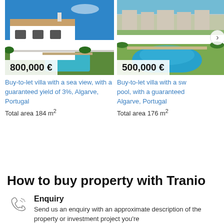[Figure (photo): Modern white villa with pool and blue sky, price badge 800,000 €]
Buy-to-let villa with a sea view, with a guaranteed yield of 3%, Algarve, Portugal
Total area 184 m²
[Figure (photo): Aerial view of villa complex with pool, partially cropped, price badge 500,000 €]
Buy-to-let villa with a swimming pool, with a guaranteed yield of %, Algarve, Portugal
Total area 176 m²
How to buy property with Tranio
Enquiry
Send us an enquiry with an approximate description of the property or investment project you're